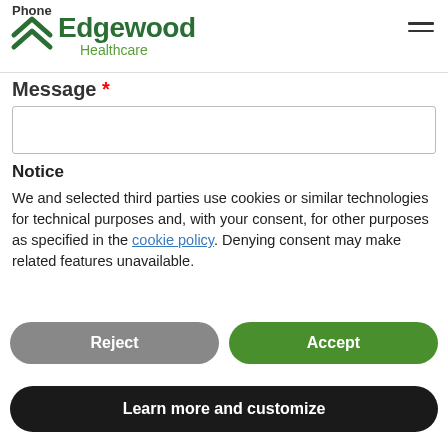Phone
[Figure (logo): Edgewood Healthcare logo with house/chevron icon in green and wordmark]
Message *
Notice
We and selected third parties use cookies or similar technologies for technical purposes and, with your consent, for other purposes as specified in the cookie policy. Denying consent may make related features unavailable.
Reject
Accept
Learn more and customize